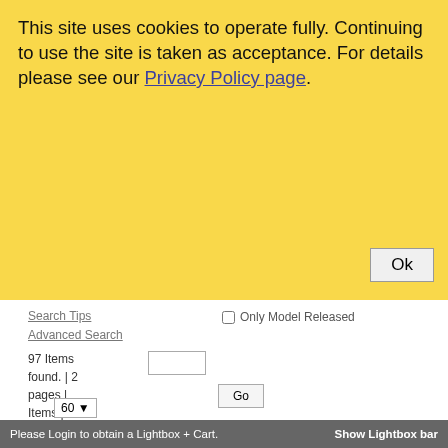This site uses cookies to operate fully. Continuing to use the site is taken as acceptance. For details please see our Privacy Policy page.
Ok
Search Tips
Advanced Search
Only Model Released
97 Items found. | 2 pages | Items per page
Go
60
1
2
Next »
Last
Peppers, aubergine and pasta.
[Figure (photo): Peppers, aubergine and pasta food photo showing green vegetables, tomatoes and herbs]
Please Login to obtain a Lightbox + Cart.   Show Lightbox bar